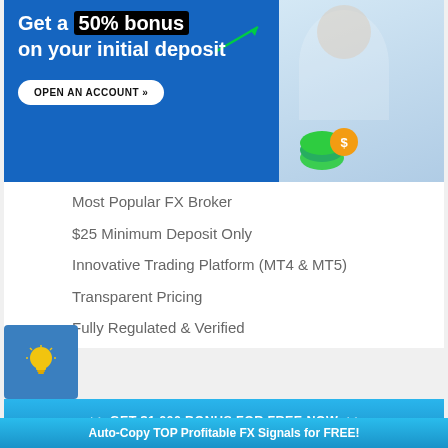[Figure (infographic): Blue banner advertisement for FX broker. Text says 'Get a 50% bonus on your initial deposit' with a button 'OPEN AN ACCOUNT >>' and a photo of a smiling man with money icons. Green arrow pointing at headline.]
Most Popular FX Broker
$25 Minimum Deposit Only
Innovative Trading Platform (MT4 & MT5)
Transparent Pricing
Fully Regulated & Verified
[Figure (infographic): Blue button banner: '>> GET $1,000 BONUS FOR FREE NOW <<']
Trading Systems
18 August 11:42 AM
Auto-Copy TOP Profitable FX Signals for FREE!